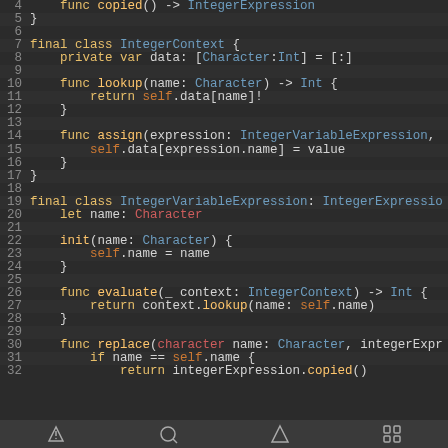[Figure (screenshot): Swift code editor screenshot showing IntegerContext and IntegerVariableExpression class definitions, lines 4-32, dark theme code editor]